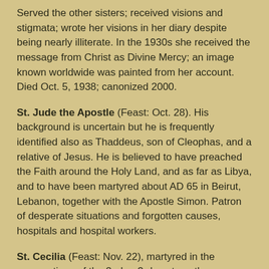Served the other sisters; received visions and stigmata; wrote her visions in her diary despite being nearly illiterate. In the 1930s she received the message from Christ as Divine Mercy; an image known worldwide was painted from her account. Died Oct. 5, 1938; canonized 2000.
St. Jude the Apostle (Feast: Oct. 28). His background is uncertain but he is frequently identified also as Thaddeus, son of Cleophas, and a relative of Jesus. He is believed to have preached the Faith around the Holy Land, and as far as Libya, and to have been martyred about AD 65 in Beirut, Lebanon, together with the Apostle Simon. Patron of desperate situations and forgotten causes, hospitals and hospital workers.
St. Cecilia (Feast: Nov. 22), martyred in the persecutions of the 2nd or 3rd century; thus very little is known about her; but her grave in the catacombs near Rome was venerated from ancient times and her name is recalled in the First Eucharistic Prayer. Many believe she was a noblewoman who died rather than marry against her will around 230; but evidence exists to show she was martyred in Sicily around